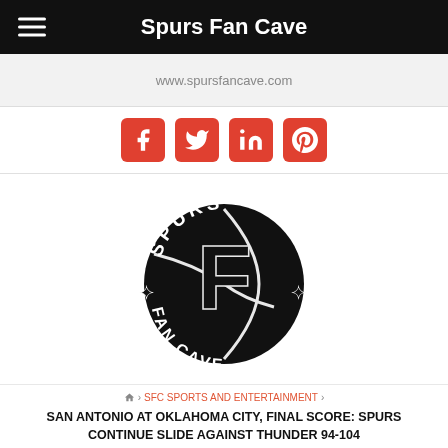Spurs Fan Cave
www.spursfancave.com
[Figure (infographic): Four social media icons: Facebook, Twitter, LinkedIn, Pinterest — red square buttons with white icons]
[Figure (logo): Spurs Fan Cave circular logo: black circle with stylized basketball and 'F' letter, text 'SPURS' arched on top and 'FAN CAVE' arched on bottom, four stars on sides]
🏠 › SFC SPORTS AND ENTERTAINMENT ›
SAN ANTONIO AT OKLAHOMA CITY, FINAL SCORE: SPURS CONTINUE SLIDE AGAINST THUNDER 94-104